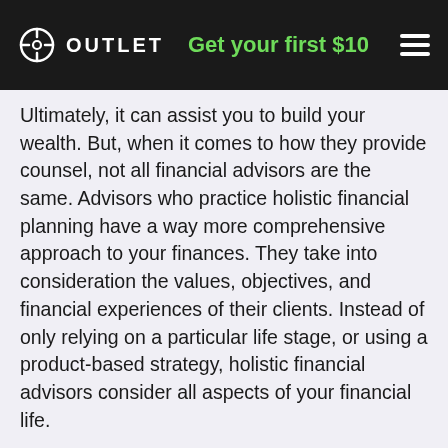OUTLET | Get your first $10
Ultimately, it can assist you to build your wealth. But, when it comes to how they provide counsel, not all financial advisors are the same. Advisors who practice holistic financial planning have a way more comprehensive approach to your finances. They take into consideration the values, objectives, and financial experiences of their clients. Instead of only relying on a particular life stage, or using a product-based strategy, holistic financial advisors consider all aspects of your financial life.
If you have been considering hiring an advisor that offers holistic financial planning, this article might be helpful. It will explain what holistic